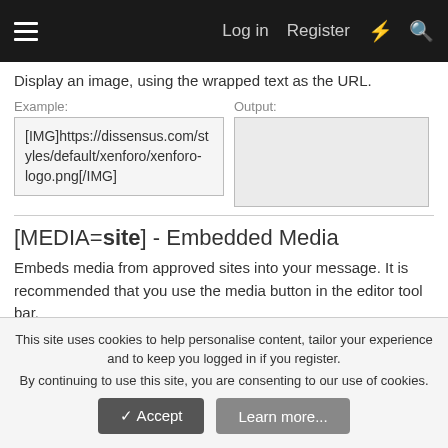Log in  Register
Display an image, using the wrapped text as the URL.
Example: [IMG]https://dissensus.com/styles/default/xenforo/xenforo-logo.png[/IMG]
[MEDIA=site] - Embedded Media
Embeds media from approved sites into your message. It is recommended that you use the media button in the editor tool bar.
Approved sites: ABC News, Amazon Product, Anchor, Apple Music, Audioboom, Audiomack, Bandcamp, BBC News, BitChute, Bleacher Report videos, Break, Brightcove, Castos,
This site uses cookies to help personalise content, tailor your experience and to keep you logged in if you register.
By continuing to use this site, you are consenting to our use of cookies.